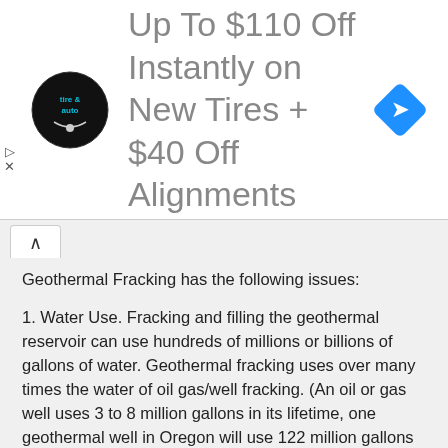[Figure (other): Advertisement banner: tire and auto logo, text 'Up To $110 Off Instantly on New Tires + $40 Off Alignments', blue diamond navigation icon]
Geothermal Fracking has the following issues:
1. Water Use. Fracking and filling the geothermal reservoir can use hundreds of millions or billions of gallons of water. Geothermal fracking uses over many times the water of oil gas/well fracking. (An oil or gas well uses 3 to 8 million gallons in its lifetime, one geothermal well in Oregon will use 122 million gallons in two years)
2. Water Contamination. The fracking process can cause vertical cracking, contaminating the fresh water above the geothermal resource. Well blowouts, unlikely but common accidents, can also contaminate drinking